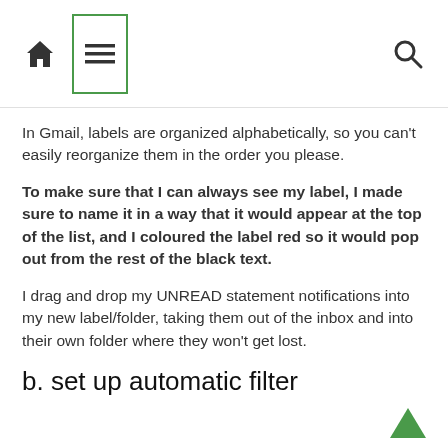Home | Menu | Search
In Gmail, labels are organized alphabetically, so you can't easily reorganize them in the order you please.
To make sure that I can always see my label, I made sure to name it in a way that it would appear at the top of the list, and I coloured the label red so it would pop out from the rest of the black text.
I drag and drop my UNREAD statement notifications into my new label/folder, taking them out of the inbox and into their own folder where they won't get lost.
b. set up automatic filter